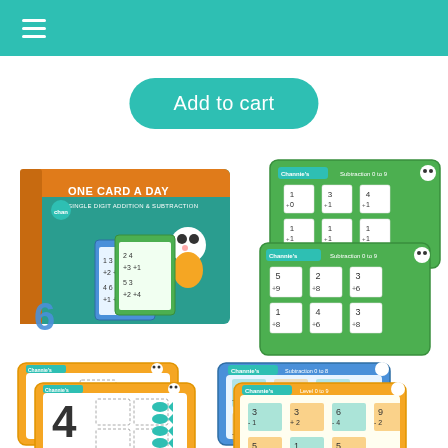Menu navigation bar with hamburger icon
Add to cart
[Figure (photo): Educational math flash card product set called 'One Card A Day - Single Digit Addition & Subtraction' by Channie's. Shows product box and sample flash cards with addition and subtraction math problems, featuring a panda mascot. Includes number tracing cards showing numbers 3 and 4 with fish icons, green math problem cards, and blue/yellow math problem cards.]